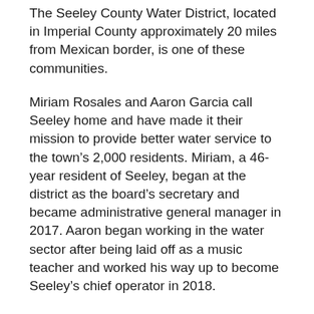The Seeley County Water District, located in Imperial County approximately 20 miles from Mexican border, is one of these communities.
Miriam Rosales and Aaron Garcia call Seeley home and have made it their mission to provide better water service to the town's 2,000 residents. Miriam, a 46-year resident of Seeley, began at the district as the board's secretary and became administrative general manager in 2017. Aaron began working in the water sector after being laid off as a music teacher and worked his way up to become Seeley's chief operator in 2018.